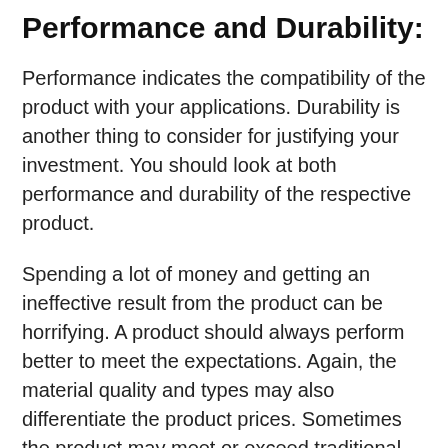Performance and Durability:
Performance indicates the compatibility of the product with your applications. Durability is another thing to consider for justifying your investment. You should look at both performance and durability of the respective product.
Spending a lot of money and getting an ineffective result from the product can be horrifying. A product should always perform better to meet the expectations. Again, the material quality and types may also differentiate the product prices. Sometimes the product may meet or exceed traditional product standards for best return or benefit on investment. Likewise, the shorter lifespan than expectation also can be a loss of